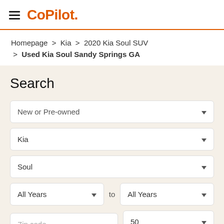CoPilot.
Homepage > Kia > 2020 Kia Soul SUV > Used Kia Soul Sandy Springs GA
Search
New or Pre-owned
Kia
Soul
All Years to All Years
Zip code
50